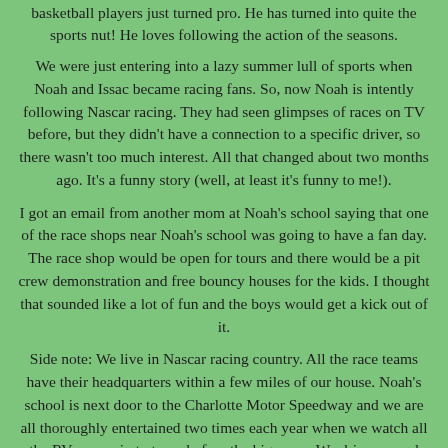basketball players just turned pro. He has turned into quite the sports nut! He loves following the action of the seasons.
We were just entering into a lazy summer lull of sports when Noah and Issac became racing fans. So, now Noah is intently following Nascar racing. They had seen glimpses of races on TV before, but they didn't have a connection to a specific driver, so there wasn't too much interest. All that changed about two months ago. It's a funny story (well, at least it's funny to me!).
I got an email from another mom at Noah's school saying that one of the race shops near Noah's school was going to have a fan day. The race shop would be open for tours and there would be a pit crew demonstration and free bouncy houses for the kids. I thought that sounded like a lot of fun and the boys would get a kick out of it.
Side note: We live in Nascar racing country. All the race teams have their headquarters within a few miles of our house. Noah's school is next door to the Charlotte Motor Speedway and we are all thoroughly entertained two times each year when we watch all the RVs come in to town before the big races. We drive around and pick out our favorite RVs for a not-so-secret count on RVs in